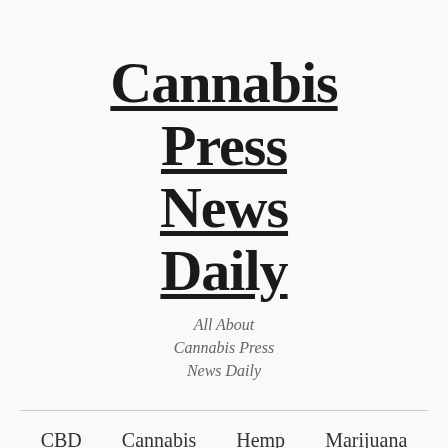Cannabis Press News Daily
All About Cannabis Press News Daily
CBD
Cannabis
Hemp
Marijuana
News